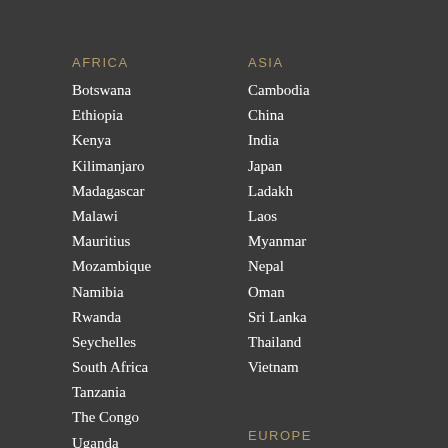AFRICA
Botswana
Ethiopia
Kenya
Kilimanjaro
Madagascar
Malawi
Mauritius
Mozambique
Namibia
Rwanda
Seychelles
South Africa
Tanzania
The Congo
Uganda
Zambia
Zanzibar
Zimbabwe
ASIA
Cambodia
China
India
Japan
Ladakh
Laos
Myanmar
Nepal
Oman
Sri Lanka
Thailand
Vietnam
EUROPE
Finland
Iceland
Ireland
Norway
Scotland